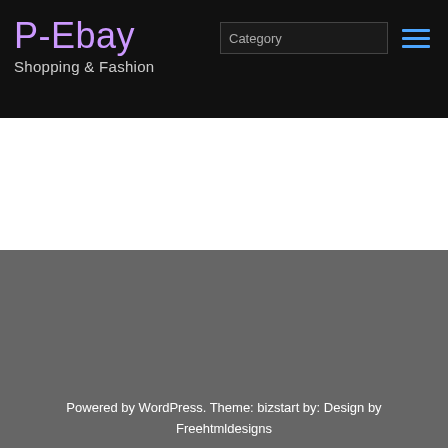P-Ebay
Shopping & Fashion
[Figure (screenshot): White content area placeholder]
[Figure (screenshot): Dark gray footer content area]
Powered by WordPress. Theme: bizstart by: Design by Freehtmldesigns